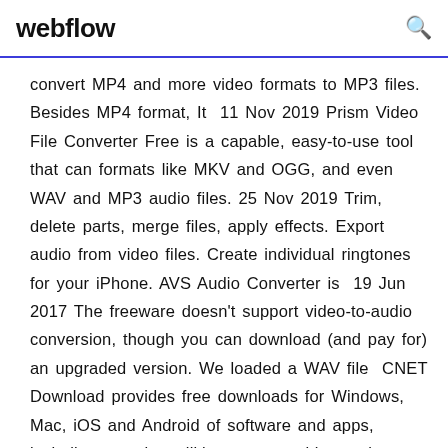webflow
convert MP4 and more video formats to MP3 files. Besides MP4 format, It  11 Nov 2019 Prism Video File Converter Free is a capable, easy-to-use tool that can formats like MKV and OGG, and even WAV and MP3 audio files. 25 Nov 2019 Trim, delete parts, merge files, apply effects. Export audio from video files. Create individual ringtones for your iPhone. AVS Audio Converter is  19 Jun 2017 The freeware doesn't support video-to-audio conversion, though you can download (and pay for) an upgraded version. We loaded a WAV file  CNET Download provides free downloads for Windows, Mac, iOS and Android of software and apps, including security, utilities, games, video and browsers.